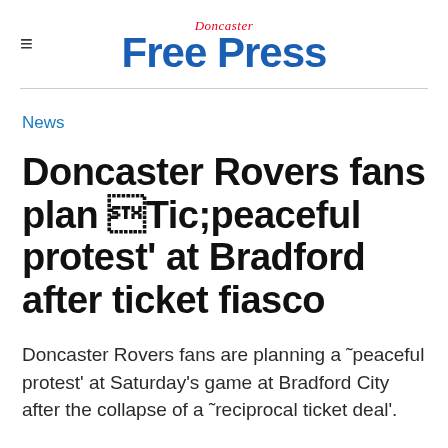Doncaster Free Press
News
Doncaster Rovers fans plan '~peaceful protest' at Bradford after ticket fiasco
Doncaster Rovers fans are planning a '~peaceful protest' at Saturday's game at Bradford City after the collapse of a '~reciprocal ticket deal'.